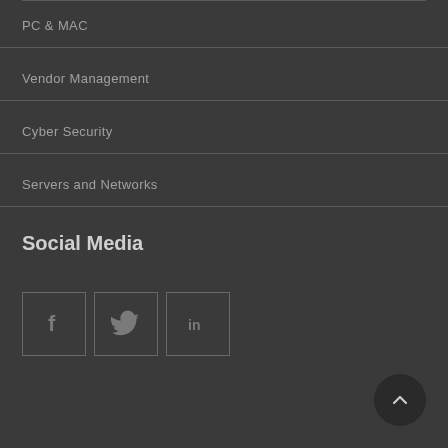PC & MAC
Vendor Management
Cyber Security
Servers and Networks
Social Media
[Figure (illustration): Three social media icon buttons: Facebook (f), Twitter (bird), LinkedIn (in)]